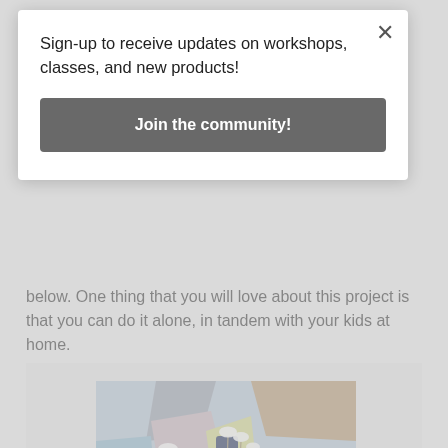Sign-up to receive updates on workshops, classes, and new products!
Join the community!
below. One thing that you will love about this project is that you can do it alone, in tandem with your kids at home.
[Figure (illustration): Abstract painting with colorful geometric shapes and white dandelion-like flowers on stems against a light blue, pink, grey, and tan background.]